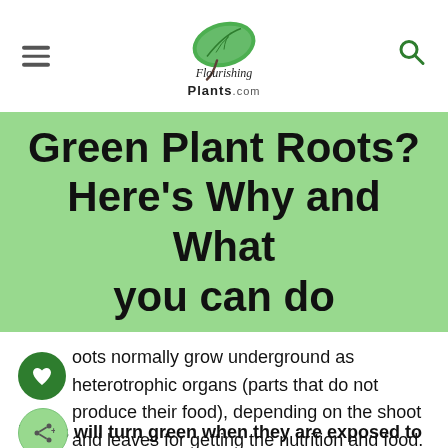Flourishing Plants.com
Green Plant Roots? Here’s Why and What you can do
Roots normally grow underground as heterotrophic organs (parts that do not produce their food), depending on the shoot and leaves for getting the nutrition and food.
Roots will turn green when they are exposed to